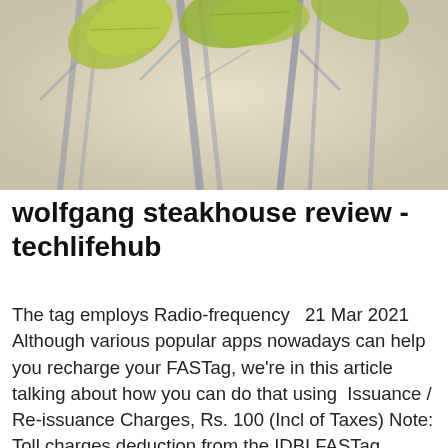[Figure (photo): A blurred nature photo showing green leaves in the foreground with bare tree branches in the background, warm yellowish-green tones.]
wolfgang steakhouse review - techlifehub
The tag employs Radio-frequency   21 Mar 2021 Although various popular apps nowadays can help you recharge your FASTag, we're in this article talking about how you can do that using  Issuance / Re-issuance Charges, Rs. 100 (Incl of Taxes) Note: Toll charges deduction from the IDBI FASTag account will be as per the respective toll plazas Paytm FASTag is a resuable RFID Tag. It Is Linked To A Registered Paytm Wallet . Toll charges are